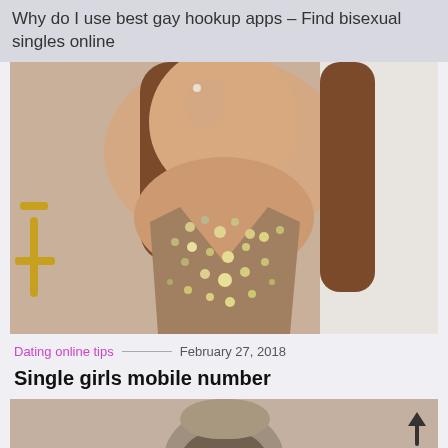Why do I use best gay hookup apps – Find bisexual singles online
[Figure (photo): Young woman with long brown hair in a bejeweled low-cut dress, posing with hand near face]
Dating online tips  ——  February 27, 2018
Single girls mobile number
[Figure (photo): Partial bottom image, cropped — appears to show a person, details not visible]